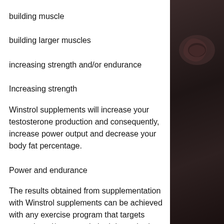building muscle
building larger muscles
increasing strength and/or endurance
Increasing strength
Winstrol supplements will increase your testosterone production and consequently, increase power output and decrease your body fat percentage.
Power and endurance
The results obtained from supplementation with Winstrol supplements can be achieved with any exercise program that targets strength and/or power in both lower body and upper body. The following is a list of exercises for each category and their